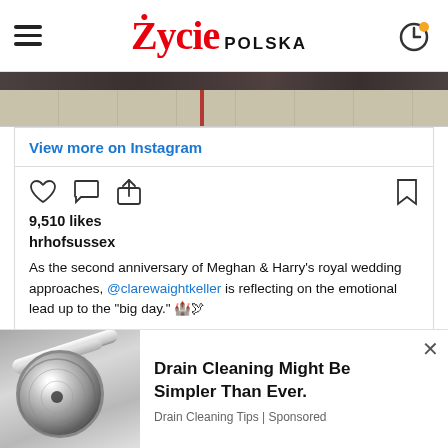Życie POLSKA
[Figure (screenshot): Instagram embed showing bottom of a photo with tiles/floor]
View more on Instagram
[Figure (illustration): Instagram action icons: heart, comment, share, bookmark]
9,510 likes
hrhofsussex
As the second anniversary of Meghan & Harry's royal wedding approaches, @clarewaightkeller is reflecting on the emotional lead up to the "big day." 🏰🕊
"The Royal Wedding Dress - Two years ago today I was in the final fittings for a very secret dress," Clare wrote in a
[Figure (photo): Advertisement: drain/sink photo on left]
Drain Cleaning Might Be Simpler Than Ever. Drain Cleaning Tips | Sponsored